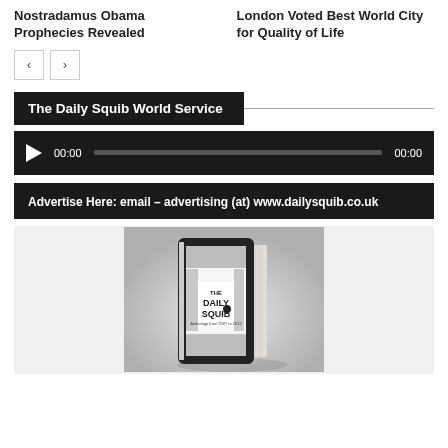Nostradamus Obama Prophecies Revealed
London Voted Best World City for Quality of Life
[Figure (infographic): Navigation previous/next arrow buttons]
The Daily Squib World Service
[Figure (infographic): Audio player bar with play button, timecode 00:00, progress bar, and end time 00:00]
Advertise Here: email – advertising (at) www.dailysquib.co.uk
[Figure (photo): The Daily Squib book anthology cover, a black and white image of a book]